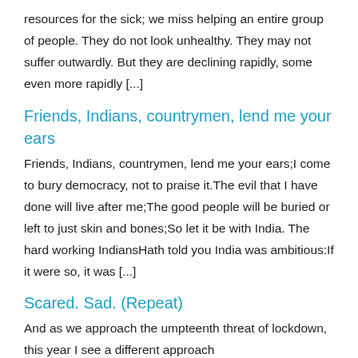resources for the sick; we miss helping an entire group of people. They do not look unhealthy. They may not suffer outwardly. But they are declining rapidly, some even more rapidly [...]
Friends, Indians, countrymen, lend me your ears
Friends, Indians, countrymen, lend me your ears;I come to bury democracy, not to praise it.The evil that I have done will live after me;The good people will be buried or left to just skin and bones;So let it be with India. The hard working IndiansHath told you India was ambitious:If it were so, it was [...]
Scared. Sad. (Repeat)
And as we approach the umpteenth threat of lockdown, this year I see a different approach